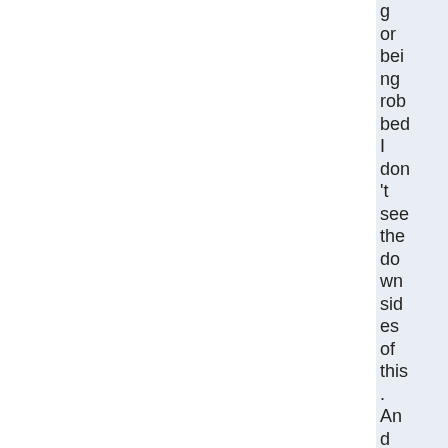g or being robbed I don't see the downsides of this. And my gut is telling me that is very unli